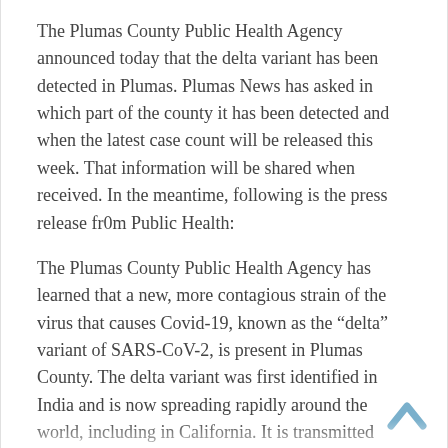The Plumas County Public Health Agency announced today that the delta variant has been detected in Plumas. Plumas News has asked in which part of the county it has been detected and when the latest case count will be released this week. That information will be shared when received. In the meantime, following is the press release fr0m Public Health:
The Plumas County Public Health Agency has learned that a new, more contagious strain of the virus that causes Covid-19, known as the “delta” variant of SARS-CoV-2, is present in Plumas County. The delta variant was first identified in India and is now spreading rapidly around the world, including in California. It is transmitted more easily than the original strain of the coronavirus and also causes more severe